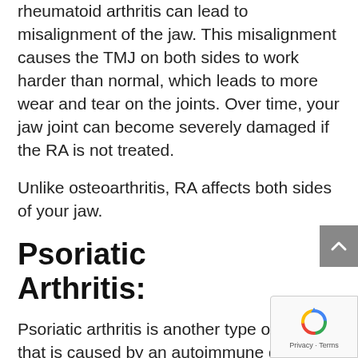rheumatoid arthritis can lead to misalignment of the jaw. This misalignment causes the TMJ on both sides to work harder than normal, which leads to more wear and tear on the joints. Over time, your jaw joint can become severely damaged if the RA is not treated.
Unlike osteoarthritis, RA affects both sides of your jaw.
Psoriatic Arthritis:
Psoriatic arthritis is another type of arthritis that is caused by an autoimmune disease. It is usually